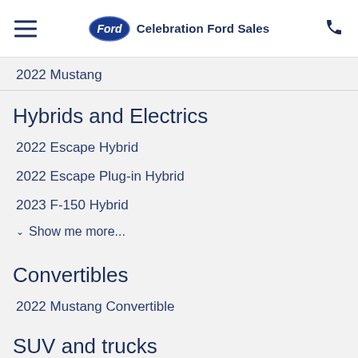Celebration Ford Sales
2022 Mustang
Hybrids and Electrics
2022 Escape Hybrid
2022 Escape Plug-in Hybrid
2023 F-150 Hybrid
Show me more...
Convertibles
2022 Mustang Convertible
SUV and trucks
2022 Bronco
2022 Bronco Sport
2022 EcoSport
Show me more...